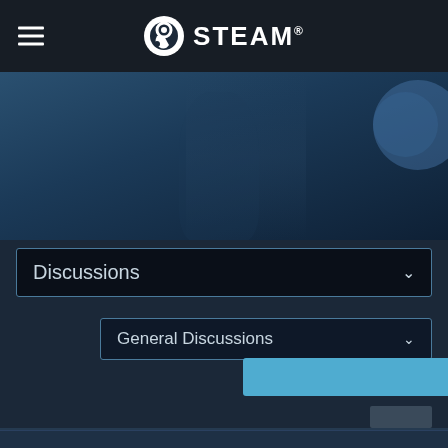STEAM
[Figure (screenshot): Steam mobile app hero banner area with dark blue game background]
Discussions
General Discussions
PINNED: Red Faction Guerrilla Ste...
PINNED: +++RED FACTION Discord
PINNED: Community Group
Multiplayer Achievements